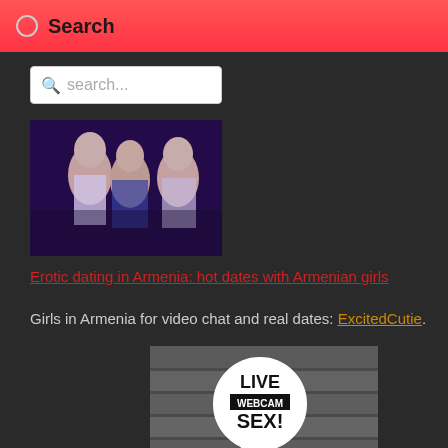Search
search...
[Figure (photo): Three blonde women at a nightclub]
Erotic dating in Armenia: hot dates with Armenian girls
Girls in Armenia for video chat and real dates: ExcitedCutie.
[Figure (photo): Live Webcam Sex advertisement banner with speech bubble logo and LIVE text at bottom]